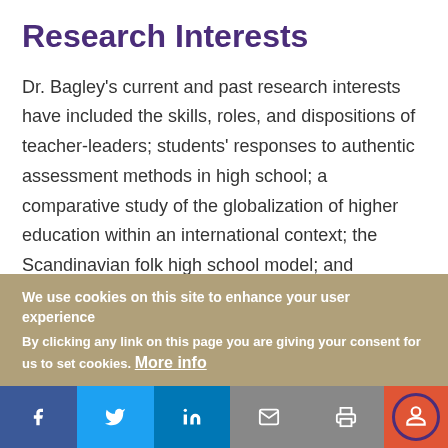Research Interests
Dr. Bagley's current and past research interests have included the skills, roles, and dispositions of teacher-leaders; students’ responses to authentic assessment methods in high school; a comparative study of the globalization of higher education within an international context; the Scandinavian folk high school model; and educational opportunities for incarcerated adults.
We use cookies on this site to enhance your user experience
By clicking any link on this page you are giving your consent for us to set cookies. More info